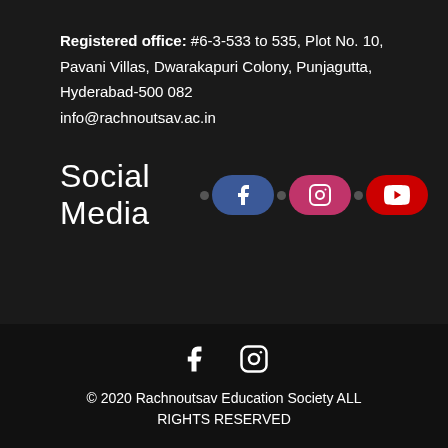Registered office: #6-3-533 to 535, Plot No. 10, Pavani Villas, Dwarakapuri Colony, Punjagutta, Hyderabad-500 082
info@rachnoutsav.ac.in
[Figure (infographic): Social Media label with Facebook, Instagram, and YouTube pill-shaped icon buttons]
[Figure (infographic): Footer with Facebook and Instagram icons, copyright text: © 2020 Rachnoutsav Education Society ALL RIGHTS RESERVED]